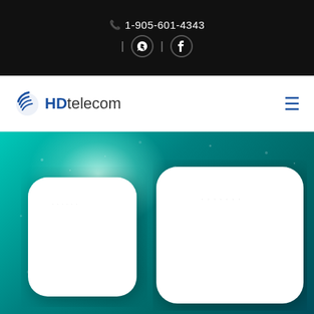1-905-601-4343 | Skype | Facebook
[Figure (logo): HD telecom logo with blue swoosh icon and text]
[Figure (photo): Two white wireless access point / router devices shown against a teal/turquoise water-drop background. Left device is smaller and slightly angled; right device is larger and square with rounded corners, shown flat.]